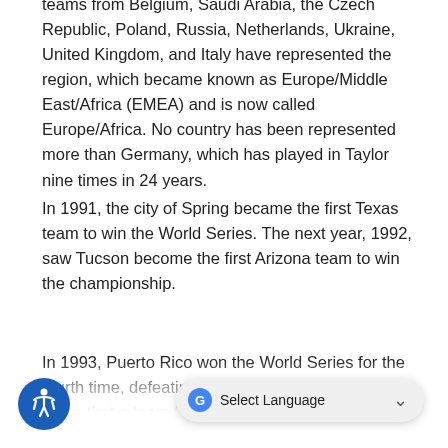teams from Belgium, Saudi Arabia, the Czech Republic, Poland, Russia, Netherlands, Ukraine, United Kingdom, and Italy have represented the region, which became known as Europe/Middle East/Africa (EMEA) and is now called Europe/Africa. No country has been represented more than Germany, which has played in Taylor nine times in 24 years.
In 1991, the city of Spring became the first Texas team to win the World Series. The next year, 1992, saw Tucson become the first Arizona team to win the championship.
In 1993, Puerto Rico won the World Series for the fourth time, defeating Mexico in the first of only two years that a team from the United States was not involved in the championship game (1999 was other). In 1993, the Goodyear... eld and delighted the crowd with a "Good Luck